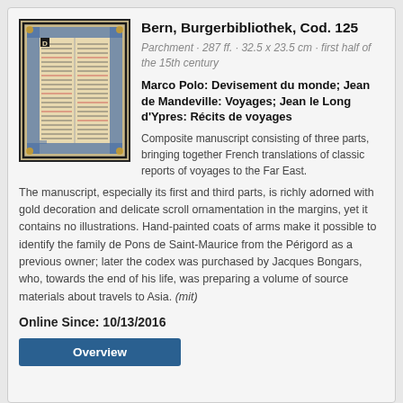Bern, Burgerbibliothek, Cod. 125
Parchment · 287 ff. · 32.5 x 23.5 cm · first half of the 15th century
Marco Polo: Devisement du monde; Jean de Mandeville: Voyages; Jean le Long d'Ypres: Récits de voyages
[Figure (illustration): Illuminated manuscript page with decorative border and two columns of text]
Composite manuscript consisting of three parts, bringing together French translations of classic reports of voyages to the Far East. The manuscript, especially its first and third parts, is richly adorned with gold decoration and delicate scroll ornamentation in the margins, yet it contains no illustrations. Hand-painted coats of arms make it possible to identify the family de Pons de Saint-Maurice from the Périgord as a previous owner; later the codex was purchased by Jacques Bongars, who, towards the end of his life, was preparing a volume of source materials about travels to Asia. (mit)
Online Since: 10/13/2016
Overview